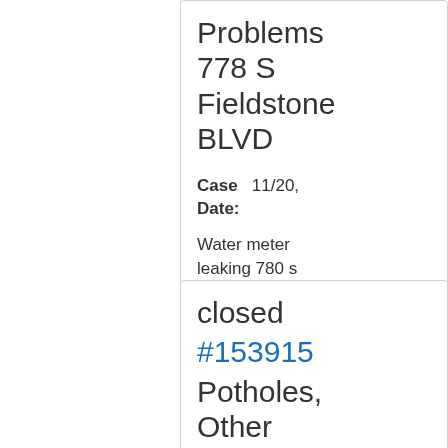Problems 778 S Fieldstone BLVD
Case Date: 11/20,
Water meter leaking 780 s fieldstone blvd
closed #153915 Potholes, Other Street Repair